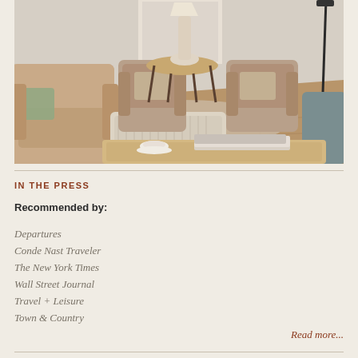[Figure (photo): Interior photo of an elegant hotel or hospitality lounge with beige/tan upholstered armchairs, a square ottoman, a round side table with a white table lamp, hardwood flooring, and a light coffee table in the foreground with a white bowl and books on it. A teal/slate sofa is visible at the right edge.]
IN THE PRESS
Recommended by:
Departures
Conde Nast Traveler
The New York Times
Wall Street Journal
Travel + Leisure
Town & Country
Read more...